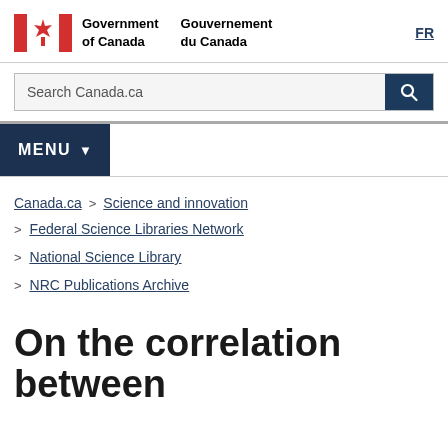Government of Canada / Gouvernement du Canada | FR
Search Canada.ca
MENU
Canada.ca > Science and innovation > Federal Science Libraries Network > National Science Library > NRC Publications Archive
On the correlation between